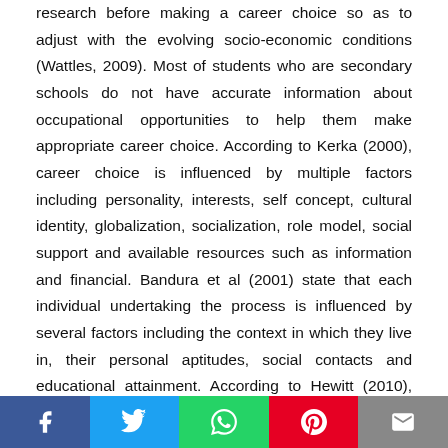research before making a career choice so as to adjust with the evolving socio-economic conditions (Wattles, 2009). Most of students who are secondary schools do not have accurate information about occupational opportunities to help them make appropriate career choice. According to Kerka (2000), career choice is influenced by multiple factors including personality, interests, self concept, cultural identity, globalization, socialization, role model, social support and available resources such as information and financial. Bandura et al (2001) state that each individual undertaking the process is influenced by several factors including the context in which they live in, their personal aptitudes, social contacts and educational attainment. According to Hewitt (2010), factors influencing career choice can either be intrinsic or extrinsic or both. Hewitt further states that most people are influenced by careers that their parents favour, others follow the careers that their educational choices have opened for them, some choose to
[Figure (infographic): Social media share bar at bottom: Facebook (blue), Twitter (light blue), WhatsApp (green), Pinterest (red), Email (grey)]